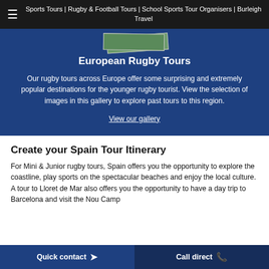Sports Tours | Rugby & Football Tours | School Sports Tour Organisers | Burleigh Travel
European Rugby Tours
Our rugby tours across Europe offer some surprising and extremely popular destinations for the younger rugby tourist. View the selection of images in this gallery to explore past tours to this region.
View our gallery
Create your Spain Tour Itinerary
For Mini & Junior rugby tours, Spain offers you the opportunity to explore the coastline, play sports on the spectacular beaches and enjoy the local culture. A tour to Lloret de Mar also offers you the opportunity to have a day trip to Barcelona and visit the Nou Camp
Quick contact   Call direct